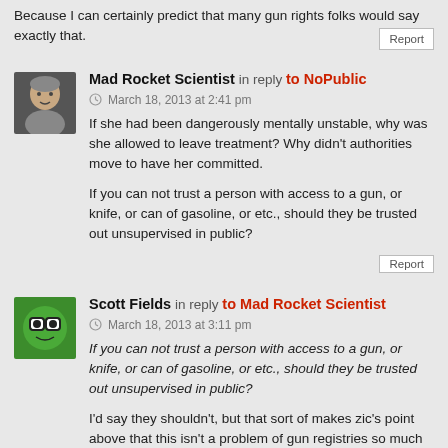Because I can certainly predict that many gun rights folks would say exactly that.
Mad Rocket Scientist in reply to NoPublic
March 18, 2013 at 2:41 pm
If she had been dangerously mentally unstable, why was she allowed to leave treatment? Why didn't authorities move to have her committed.

If you can not trust a person with access to a gun, or knife, or can of gasoline, or etc., should they be trusted out unsupervised in public?
Scott Fields in reply to Mad Rocket Scientist
March 18, 2013 at 3:11 pm
If you can not trust a person with access to a gun, or knife, or can of gasoline, or etc., should they be trusted out unsupervised in public?

I'd say they shouldn't, but that sort of makes zic's point above that this isn't a problem of gun registries so much as a problem of mental health treatment and/or enforcement of that...